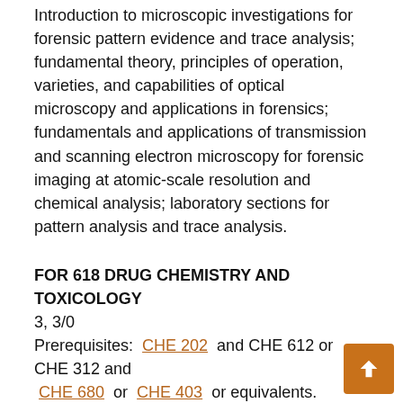Introduction to microscopic investigations for forensic pattern evidence and trace analysis; fundamental theory, principles of operation, varieties, and capabilities of optical microscopy and applications in forensics; fundamentals and applications of transmission and scanning electron microscopy for forensic imaging at atomic-scale resolution and chemical analysis; laboratory sections for pattern analysis and trace analysis.
FOR 618 DRUG CHEMISTRY AND TOXICOLOGY
3, 3/0
Prerequisites: CHE 202 and CHE 612 or CHE 312 and CHE 680 or CHE 403 or equivalents. Overview of misused and illegal pharmaceuticals, toxicology, poisons, forensic drug analysis, and illicit drug manufacture. Types, classes, and structures of illicit pharmaceuticals and the laws governing these substances; mechanism of biological activity and